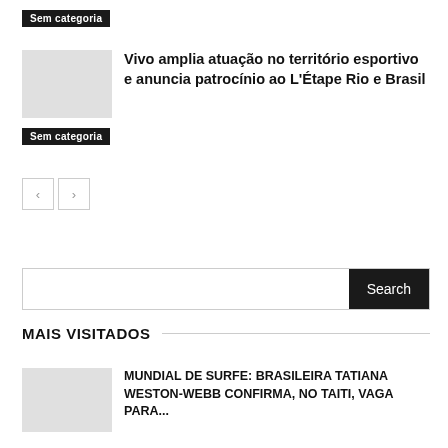Sem categoria
Vivo amplia atuação no território esportivo e anuncia patrocínio ao L'Étape Rio e Brasil
Sem categoria
< >
Search
MAIS VISITADOS
MUNDIAL DE SURFE: BRASILEIRA TATIANA WESTON-WEBB CONFIRMA, NO TAITI, VAGA PARA...